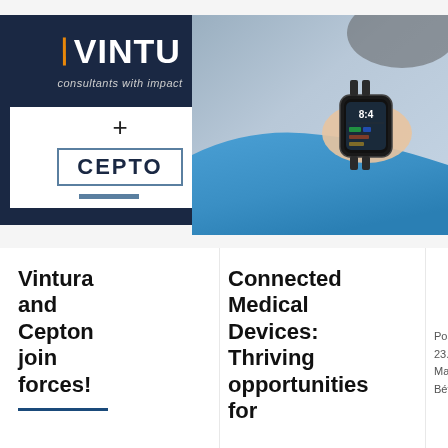[Figure (logo): Vintura logo with orange slash mark and dark navy background, showing 'VINTU' text with tagline 'consultants with impact', plus sign, and Cepton logo with border and decorative line]
[Figure (photo): Close-up photo of a person wearing a blue long-sleeve shirt using a smartwatch/connected medical device, blurred background]
Vintura and Cepton join forces!
Connected Medical Devices: Thriving opportunities for
Posted: 23.03 Marc- Bévie